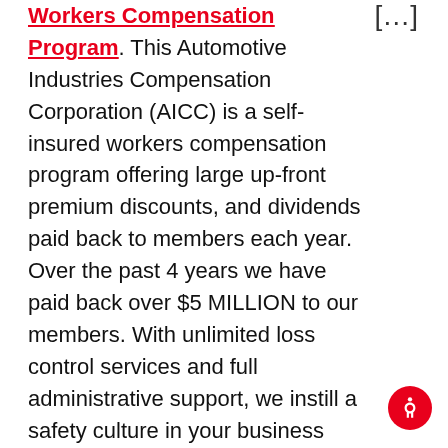Workers Compensation Program. This Automotive Industries Compensation Corporation (AICC) is a self-insured workers compensation program offering large up-front premium discounts, and dividends paid back to members each year. Over the past 4 years we have paid back over $5 MILLION to our members. With unlimited loss control services and full administrative support, we instill a safety culture in your business you've never
[Figure (other): Accessibility icon button (person with arms outstretched in a circle), red background, bottom-right corner]